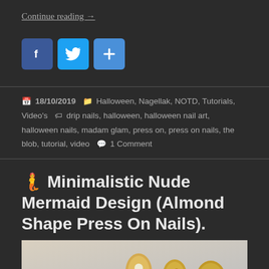Continue reading →
[Figure (illustration): Social share buttons: Facebook (blue f icon), Twitter (blue bird icon), and a plus/share button (blue +)]
18/10/2019  Halloween, Nagellak, NOTD, Tutorials, Video's  drip nails, halloween, halloween nail art, halloween nails, madam glam, press on, press on nails, the blob, tutorial, video  1 Comment
🧜 Minimalistic Nude Mermaid Design (Almond Shape Press On Nails).
[Figure (photo): Close-up photo of gold/nude almond-shaped press-on nails with mermaid-themed decorations including pearls and golden embellishments on a light grey background]